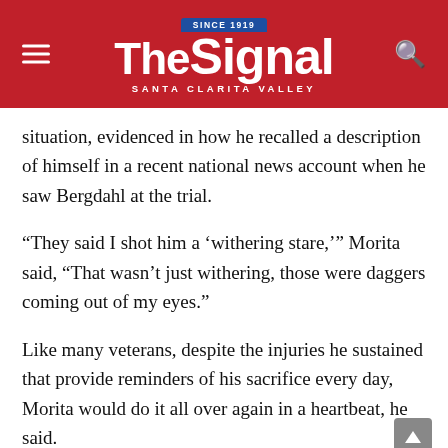The Signal — Santa Clarita Valley
situation, evidenced in how he recalled a description of himself in a recent national news account when he saw Bergdahl at the trial.
“They said I shot him a ‘withering stare,’” Morita said, “That wasn’t just withering, those were daggers coming out of my eyes.”
Like many veterans, despite the injuries he sustained that provide reminders of his sacrifice every day, Morita would do it all over again in a heartbeat, he said.